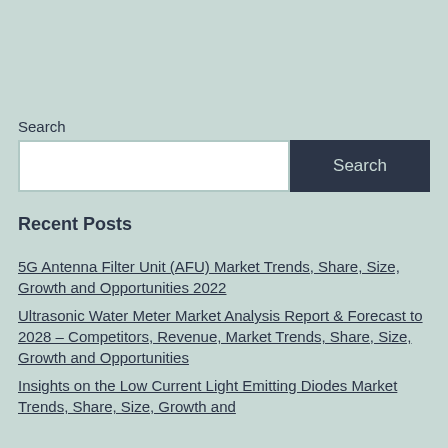Search
Search
Recent Posts
5G Antenna Filter Unit (AFU) Market Trends, Share, Size, Growth and Opportunities 2022
Ultrasonic Water Meter Market Analysis Report & Forecast to 2028 – Competitors, Revenue, Market Trends, Share, Size, Growth and Opportunities
Insights on the Low Current Light Emitting Diodes Market Trends, Share, Size, Growth and Opportunities 2022